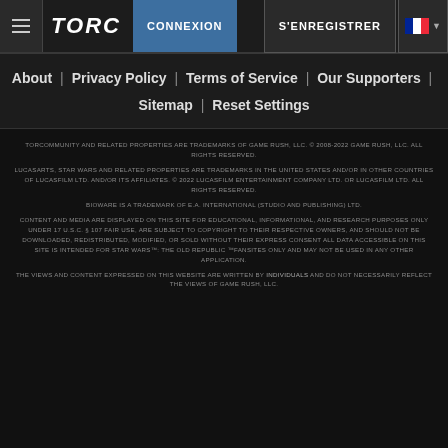TORC | CONNEXION | S'ENREGISTRER
About | Privacy Policy | Terms of Service | Our Supporters | Sitemap | Reset Settings
TORCOMMUNITY AND RELATED PROPERTIES ARE TRADEMARKS OF GAME RUSH, LLC. © 2008-2022 GAME RUSH, LLC. ALL RIGHTS RESERVED.
LUCASARTS, STAR WARS AND RELATED PROPERTIES ARE TRADEMARKS IN THE UNITED STATES AND/OR IN OTHER COUNTRIES OF LUCASFILM LTD. AND/OR ITS AFFILIATES. © 2022 LUCASFILM ENTERTAINMENT COMPANY LTD. OR LUCASFILM LTD. ALL RIGHTS RESERVED.
BIOWARE IS A TRADEMARK OF E.A. INTERNATIONAL (STUDIO AND PUBLISHING) LTD.
CONTENT AND MEDIA ARE DISPLAYED ON THIS SITE FOR EDUCATIONAL, INFORMATIONAL, AND RESEARCH PURPOSES ONLY UNDER 17 U.S.C. § 107 FAIR USE, ARE SUBJECT TO COPYRIGHT TO THEIR RESPECTIVE OWNERS, AND SHOULD NOT BE DOWNLOADED, REDISTRIBUTED, MODIFIED, OR SOLD WITHOUT THEIR EXPRESS CONSENT ALL DATA ACCESSIBLE ON THIS SITE IS INTENDED FOR STAR WARS™: THE OLD REPUBLIC ™ FANSITES ONLY AND MAY NOT BE USED IN ANY OTHER APPLICATION.
THE VIEWS AND CONTENT EXPRESSED ON THIS WEBSITE ARE WRITTEN BY INDIVIDUALS AND DO NOT NECESSARILY REFLECT THE VIEWS OF GAME RUSH, LLC.